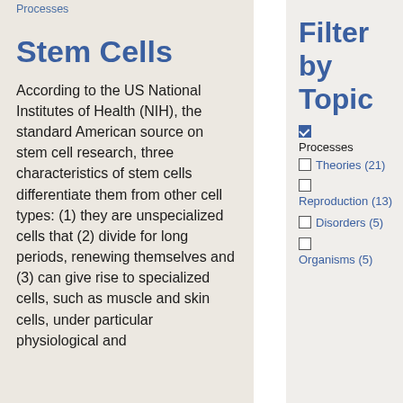Processes
Stem Cells
According to the US National Institutes of Health (NIH), the standard American source on stem cell research, three characteristics of stem cells differentiate them from other cell types: (1) they are unspecialized cells that (2) divide for long periods, renewing themselves and (3) can give rise to specialized cells, such as muscle and skin cells, under particular physiological and
Filter by Topic
Processes (checked)
Theories (21)
Reproduction (13)
Disorders (5)
Organisms (5)